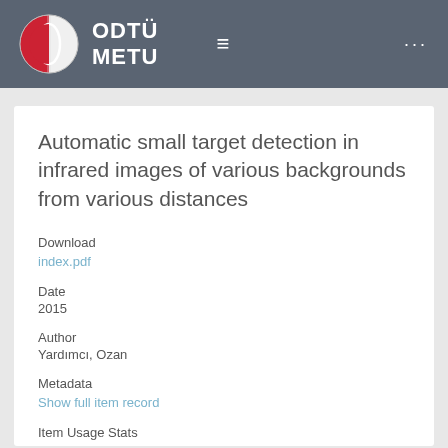ODTÜ METU
Automatic small target detection in infrared images of various backgrounds from various distances
Download
index.pdf
Date
2015
Author
Yardımcı, Ozan
Metadata
Show full item record
Item Usage Stats